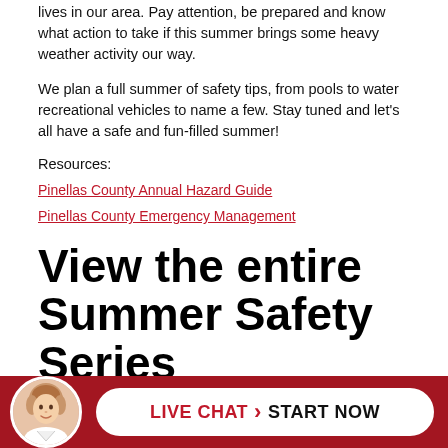lives in our area. Pay attention, be prepared and know what action to take if this summer brings some heavy weather activity our way.
We plan a full summer of safety tips, from pools to water recreational vehicles to name a few. Stay tuned and let's all have a safe and fun-filled summer!
Resources:
Pinellas County Annual Hazard Guide
Pinellas County Emergency Management
View the entire Summer Safety Series
#1 Hurricanes – Be Prepared
#2 Be...
[Figure (illustration): Live chat widget bar with female avatar, red background, white pill button reading LIVE CHAT > START NOW]